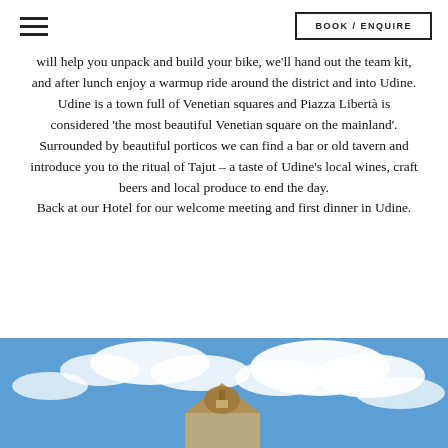BOOK / ENQUIRE
will help you unpack and build your bike, we'll hand out the team kit, and after lunch enjoy a warmup ride around the district and into Udine. Udine is a town full of Venetian squares and Piazza Libertà is considered 'the most beautiful Venetian square on the mainland'. Surrounded by beautiful porticos we can find a bar or old tavern and introduce you to the ritual of Tajut – a taste of Udine's local wines, craft beers and local produce to end the day. Back at our Hotel for our welcome meeting and first dinner in Udine.
[Figure (photo): Photo of a building or landmark with blue sky and clouds in the background]